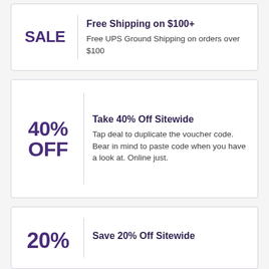[Figure (other): Coupon card: SALE badge, Free Shipping on $100+, Free UPS Ground Shipping on orders over $100]
[Figure (other): Coupon card: 40% OFF badge, Take 40% Off Sitewide, Tap deal to duplicate the voucher code. Bear in mind to paste code when you have a look at. Online just.]
[Figure (other): Coupon card: 20% badge (partially visible), Save 20% Off Sitewide]